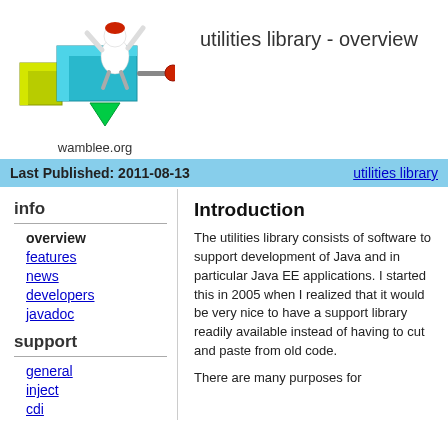[Figure (logo): 3D cartoon mascot with colorful blocks (blue, yellow, green) and a white figure with red head, rendered as a logo illustration]
utilities library - overview
wamblee.org
Last Published: 2011-08-13   utilities library
info
overview
features
news
developers
javadoc
support
general
inject
cdi
Introduction
The utilities library consists of software to support development of Java and in particular Java EE applications. I started this in 2005 when I realized that it would be very nice to have a support library readily available instead of having to cut and paste from old code.
There are many purposes for